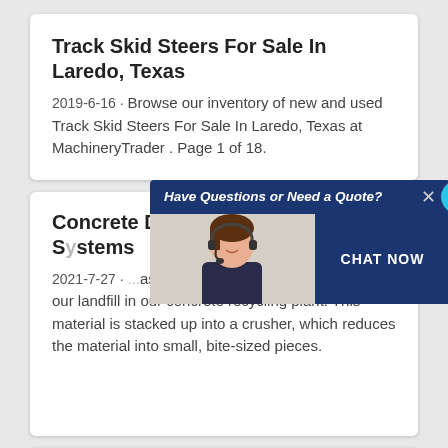Track Skid Steers For Sale In Laredo, Texas
2019-6-16 · Browse our inventory of new and used Track Skid Steers For Sale In Laredo, Texas at MachineryTrader . Page 1 of 18.
Concrete D... | Texas Disposal Systems
2021-7-27 · ...as asphalt, brick, porce... ...ay from our landfill in our concrete recycling plant. This material is stacked up into a crusher, which reduces the material into small, bite-sized pieces.
[Figure (photo): Chat popup overlay with woman wearing headset, blue header 'Have Questions or Need a Quote?', CHAT NOW button, and Live Chat speech bubble icon]
san antonio for sale "dogs"